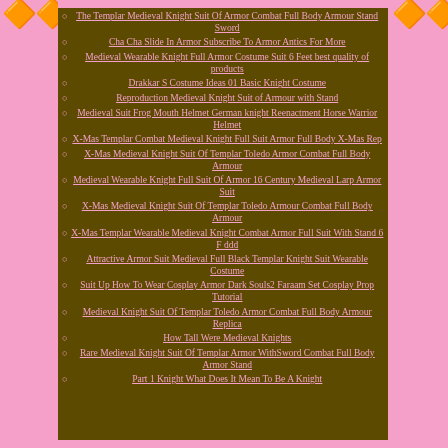The Templar Medieval Knight Suit Of Armor Combat Full Body Armour Stand Sword
Cha Cha Slide In Armor Subscribe To Armor Antics For More
Medieval Wearable Knight Full Armor Costume Suit 6 Feet best quality of products
Drakkar S Costume Ideas 01 Basic Knight Costume
Reproduction Medieval Knight Suit of Armour with Stand
Medieval Suit Frog Mouth Helmet German knight Reenactment Horse Warrior Helmet
X-Mas Templar Combat Medieval Knight Full Suit Armor Full Body X-Mas Rep
X-Mas Medieval Knight Suit Of Templar Toledo Armor Combat Full Body Armour
Medieval Wearable Knight Full Suit Of Armor 16 Century Medieval Larp Armor Suit
X-Mas Medieval Knight Suit Of Templar Toledo Armour Combat Full Body Armour
X-Mas Templar Wearable Medieval Knight Combat Armor Full Suit With Stand 6 F ddd
Attractive Armor Suit Medieval Full Black Templar Knight Suit Wearable Costume
Suit Up How To Wear Cosplay Armor Dark Souls2 Faraam Set Cosplay Prop Tutorial
Medieval Knight Suit Of Templar Toledo Armor Combat Full Body Armour Replica
How Tall Were Medieval Knights
Rare Medieval Knight Suit Of Templar Armor WithSword Combat Full Body Armor Stand
Part 1 Knight What Does It Mean To Be A Knight